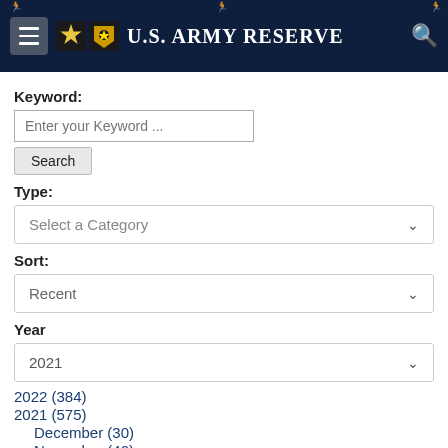U.S. Army Reserve
Keyword:
Enter your Keyword ...
Search
Type:
Select a Category
Sort:
Recent
Year
2021
2022 (384)
2021 (575)
December (30)
November (40)
October (34)
September (42)
August (61)
July (54)